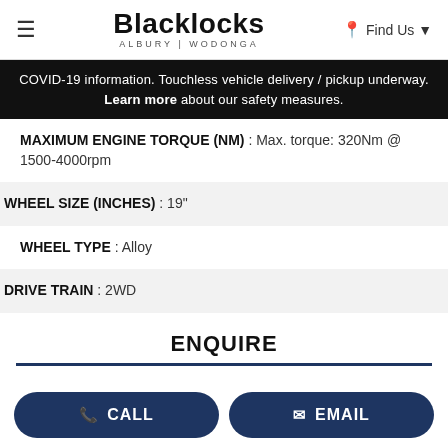≡ Blacklocks ALBURY | WODONGA  📍 Find Us ▾
COVID-19 information. Touchless vehicle delivery / pickup underway. Learn more about our safety measures.
MAXIMUM ENGINE TORQUE (NM) : Max. torque: 320Nm @ 1500-4000rpm
WHEEL SIZE (INCHES) : 19"
WHEEL TYPE : Alloy
DRIVE TRAIN : 2WD
ENQUIRE
📞 CALL   ✉ EMAIL